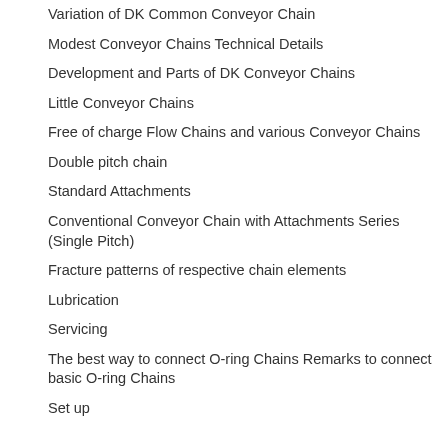Variation of DK Common Conveyor Chain
Modest Conveyor Chains Technical Details
Development and Parts of DK Conveyor Chains
Little Conveyor Chains
Free of charge Flow Chains and various Conveyor Chains
Double pitch chain
Standard Attachments
Conventional Conveyor Chain with Attachments Series (Single Pitch)
Fracture patterns of respective chain elements
Lubrication
Servicing
The best way to connect O-ring Chains Remarks to connect basic O-ring Chains
Set up